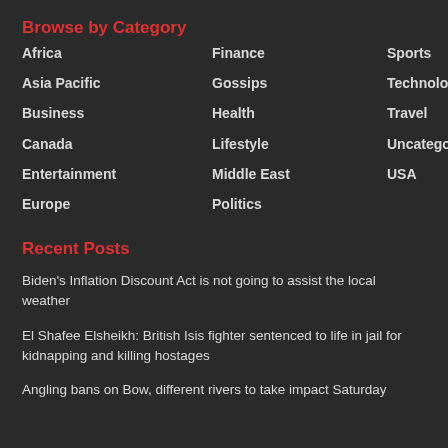Browse by Category
Africa
Finance
Sports
Asia Pacific
Gossips
Technology
Business
Health
Travel
Canada
Lifestyle
Uncategorized
Entertainment
Middle East
USA
Europe
Politics
Recent Posts
Biden's Inflation Discount Act is not going to assist the local weather
El Shafee Elsheikh: British Isis fighter sentenced to life in jail for kidnapping and killing hostages
Angling bans on Bow, different rivers to take impact Saturday